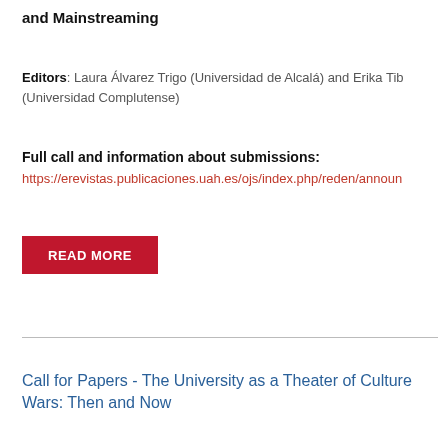and Mainstreaming
Editors: Laura Álvarez Trigo (Universidad de Alcalá) and Erika Tib (Universidad Complutense)
Full call and information about submissions: https://erevistas.publicaciones.uah.es/ojs/index.php/reden/announ
[Figure (other): Red button labeled READ MORE]
Call for Papers - The University as a Theater of Culture Wars: Then and Now